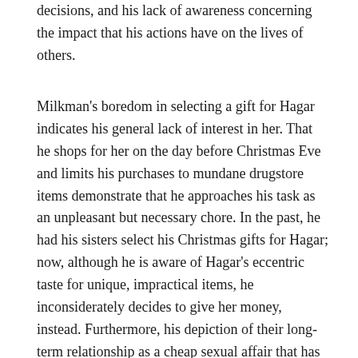decisions, and his lack of awareness concerning the impact that his actions have on the lives of others.
Milkman's boredom in selecting a gift for Hagar indicates his general lack of interest in her. That he shops for her on the day before Christmas Eve and limits his purchases to mundane drugstore items demonstrate that he approaches his task as an unpleasant but necessary chore. In the past, he had his sisters select his Christmas gifts for Hagar; now, although he is aware of Hagar's eccentric taste for unique, impractical items, he inconsiderately decides to give her money, instead. Furthermore, his depiction of their long-term relationship as a cheap sexual affair that has